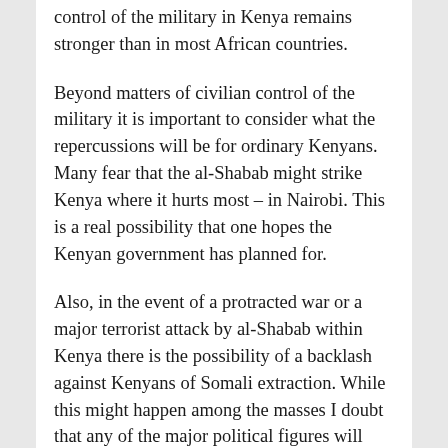control of the military in Kenya remains stronger than in most African countries.
Beyond matters of civilian control of the military it is important to consider what the repercussions will be for ordinary Kenyans. Many fear that the al-Shabab might strike Kenya where it hurts most – in Nairobi. This is a real possibility that one hopes the Kenyan government has planned for.
Also, in the event of a protracted war or a major terrorist attack by al-Shabab within Kenya there is the possibility of a backlash against Kenyans of Somali extraction. While this might happen among the masses I doubt that any of the major political figures will actively promote such a misguided reaction. North Eastern Kenya is an important voting bloc that the presidential front-runners in next year's general election will want on their side (Mr. Odinga, the Kenyan Prime Minister is particular keen on this voting bloc). In this regard the fact that blatant expropriation of